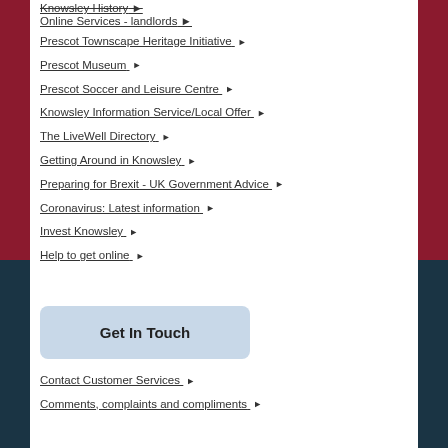Knowsley History / Online Services - landlords ▶
Prescot Townscape Heritage Initiative ▶
Prescot Museum ▶
Prescot Soccer and Leisure Centre ▶
Knowsley Information Service/Local Offer ▶
The LiveWell Directory ▶
Getting Around in Knowsley ▶
Preparing for Brexit - UK Government Advice ▶
Coronavirus: Latest information ▶
Invest Knowsley ▶
Help to get online ▶
Get In Touch
Contact Customer Services ▶
Comments, complaints and compliments ▶